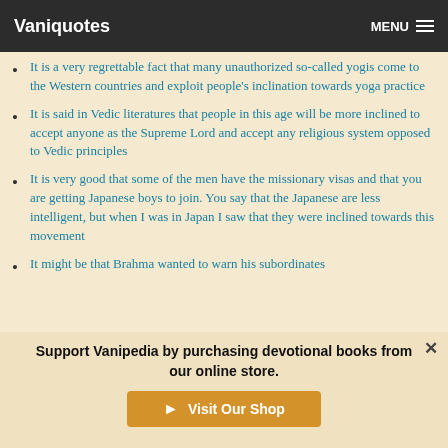Vaniquotes    MENU
It is a very regrettable fact that many unauthorized so-called yogis come to the Western countries and exploit people's inclination towards yoga practice
It is said in Vedic literatures that people in this age will be more inclined to accept anyone as the Supreme Lord and accept any religious system opposed to Vedic principles
It is very good that some of the men have the missionary visas and that you are getting Japanese boys to join. You say that the Japanese are less intelligent, but when I was in Japan I saw that they were inclined towards this movement
It might be that Brahma wanted to warn his subordinates
Support Vanipedia by purchasing devotional books from our online store.
Visit Our Shop